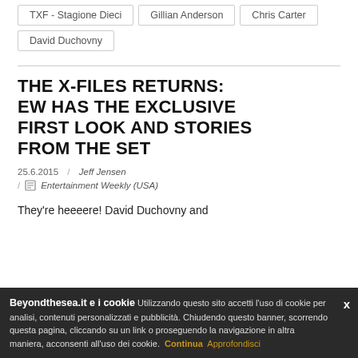TXF - Stagione Dieci
Gillian Anderson
Chris Carter
David Duchovny
THE X-FILES RETURNS: EW HAS THE EXCLUSIVE FIRST LOOK AND STORIES FROM THE SET
25.6.2015 / Jeff Jensen
/ Entertainment Weekly (USA)
They're heeeere! David Duchovny and
Beyondthesea.it e i cookie Utilizzando questo sito accetti l'uso di cookie per analisi, contenuti personalizzati e pubblicità. Chiudendo questo banner, scorrendo questa pagina, cliccando su un link o proseguendo la navigazione in altra maniera, acconsenti all'uso dei cookie. Continua Approfondisci